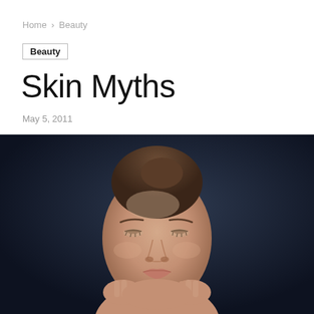Home › Beauty
Beauty
Skin Myths
May 5, 2011
[Figure (photo): A woman with her eyes closed and hands raised to her face, photographed against a dark blue-grey background. She has her hair pulled back and is shown from shoulders up.]